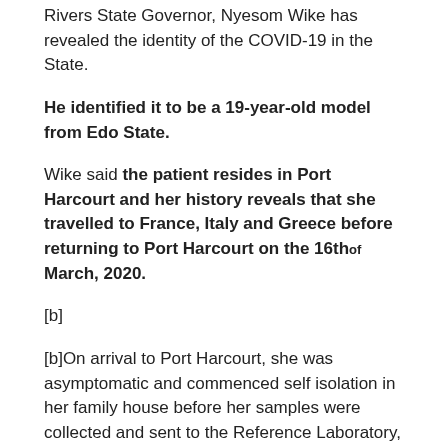Rivers State Governor, Nyesom Wike has revealed the identity of the COVID-19 in the State.
He identified it to be a 19-year-old model from Edo State.
Wike said the patient resides in Port Harcourt and her history reveals that she travelled to France, Italy and Greece before returning to Port Harcourt on the 16th of March, 2020.
[b]
[b]On arrival to Port Harcourt, she was asymptomatic and commenced self isolation in her family house before her samples were collected and sent to the Reference Laboratory, Irruan in Edo Stat[/b]
e